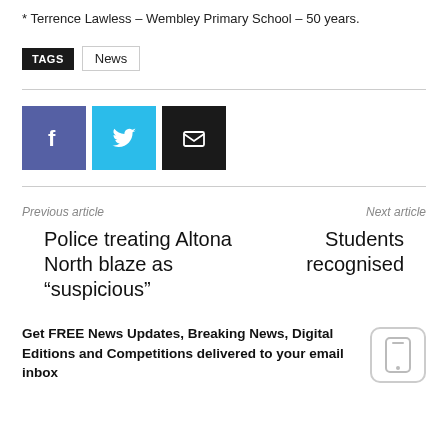* Terrence Lawless – Wembley Primary School – 50 years.
TAGS  News
[Figure (other): Social share buttons: Facebook (blue-purple), Twitter (cyan), Email (black)]
Previous article
Next article
Police treating Altona North blaze as “suspicious”
Students recognised
Get FREE News Updates, Breaking News, Digital Editions and Competitions delivered to your email inbox